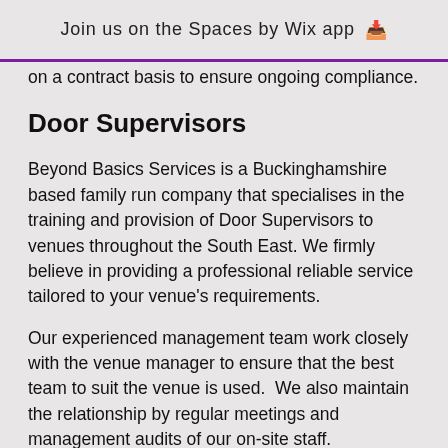Join us on the Spaces by Wix app ↓
on a contract basis to ensure ongoing compliance.
Door Supervisors
Beyond Basics Services is a Buckinghamshire based family run company that specialises in the training and provision of Door Supervisors to venues throughout the South East. We firmly believe in providing a professional reliable service tailored to your venue's requirements.
Our experienced management team work closely with the venue manager to ensure that the best team to suit the venue is used.  We also maintain the relationship by regular meetings and management audits of our on-site staff.
All our Door Supervisors are SIA licensed